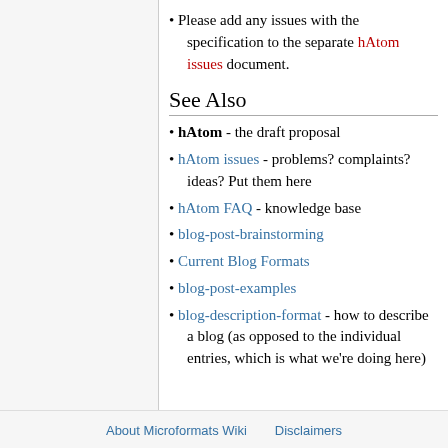Please add any issues with the specification to the separate hAtom issues document.
See Also
hAtom - the draft proposal
hAtom issues - problems? complaints? ideas? Put them here
hAtom FAQ - knowledge base
blog-post-brainstorming
Current Blog Formats
blog-post-examples
blog-description-format - how to describe a blog (as opposed to the individual entries, which is what we're doing here)
About Microformats Wiki   Disclaimers